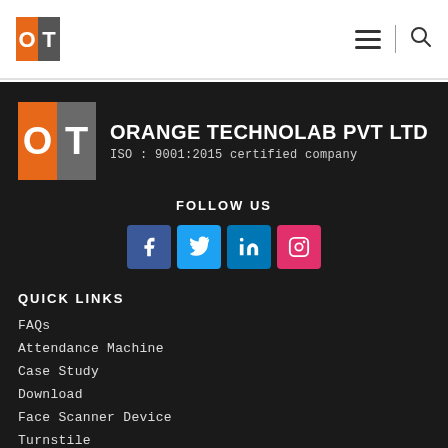[Figure (logo): Orange Technolab OT logo small in header navigation bar]
[Figure (logo): Orange Technolab OT large logo with company name: ORANGE TECHNOLAB PVT LTD, ISO : 9001:2015 certified company]
FOLLOW US
[Figure (infographic): Social media icons: Facebook, Twitter, LinkedIn, Instagram]
QUICK LINKS
FAQs
Attendance Machine
Case Study
Download
Face Scanner Device
Turnstile